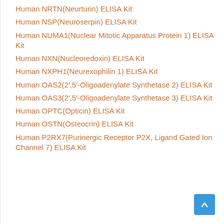Human NRTN(Neurturin) ELISA Kit
Human NSP(Neuroserpin) ELISA Kit
Human NUMA1(Nuclear Mitotic Apparatus Protein 1) ELISA Kit
Human NXN(Nucleoredoxin) ELISA Kit
Human NXPH1(Neurexophilin 1) ELISA Kit
Human OAS2(2',5'-Oligoadenylate Synthetase 2) ELISA Kit
Human OAS3(2',5'-Oligoadenylate Synthetase 3) ELISA Kit
Human OPTC(Opticin) ELISA Kit
Human OSTN(Osteocrin) ELISA Kit
Human P2RX7(Purinergic Receptor P2X, Ligand Gated Ion Channel 7) ELISA Kit